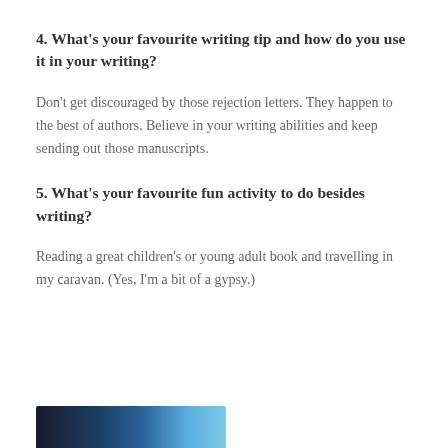4. What’s your favourite writing tip and how do you use it in your writing?
Don't get discouraged by those rejection letters. They happen to the best of authors. Believe in your writing abilities and keep sending out those manuscripts.
5. What’s your favourite fun activity to do besides writing?
Reading a great children’s or young adult book and travelling in my caravan. (Yes, I’m a bit of a gypsy.)
[Figure (photo): Partial image visible at the bottom of the page, showing blue tones, partially cropped.]